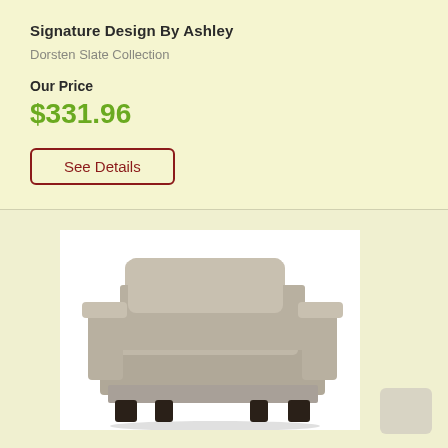Signature Design By Ashley
Dorsten Slate Collection
Our Price
$331.96
See Details
[Figure (photo): A gray upholstered armchair from the Dorsten Slate Collection by Signature Design By Ashley, shown from a slight angle. The chair has wide arms, a large seat cushion, and a back cushion, sitting on dark wooden legs.]
[Figure (other): A small beige/taupe color swatch square in the bottom right corner.]